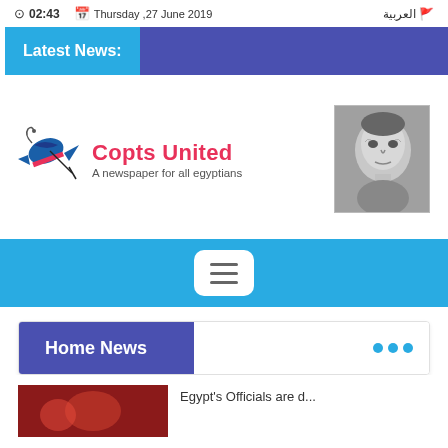02:43   Thursday ,27 June 2019   العربية
Latest News:
[Figure (logo): Copts United newspaper logo — bird/quill illustration with 'Copts United' in red and tagline 'A newspaper for all egyptians' in gray]
[Figure (photo): Black and white portrait photo of an elderly man]
[Figure (other): Navigation hamburger menu button (three horizontal lines) on a blue bar]
Home News
...